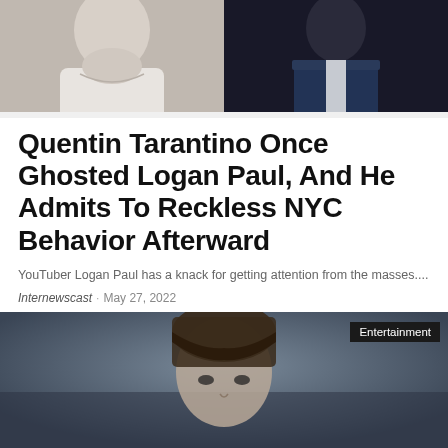[Figure (photo): Two side-by-side photos: left shows a person in a white shirt/turtleneck, right shows a person in a dark suit against a dark background]
Quentin Tarantino Once Ghosted Logan Paul, And He Admits To Reckless NYC Behavior Afterward
YouTuber Logan Paul has a knack for getting attention from the masses....
Internewscast · May 27, 2022
[Figure (photo): A woman with bangs and long hair, against a blurred dark background, with an 'Entertainment' label badge in the top right corner]